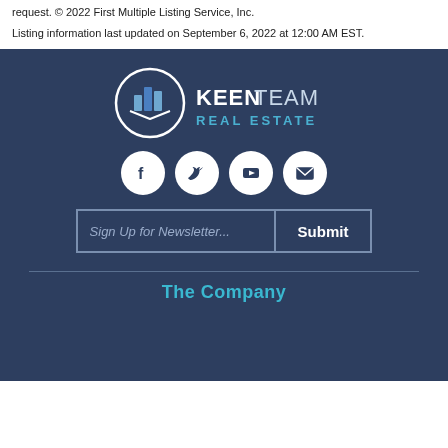request. © 2022 First Multiple Listing Service, Inc.
Listing information last updated on September 6, 2022 at 12:00 AM EST.
[Figure (logo): Keen Team Real Estate logo with circular building/chart icon on left and KEENTEAM REAL ESTATE text on right, on dark navy background]
[Figure (infographic): Four social media icon buttons (Facebook, Twitter, YouTube, Email) as white circles on dark navy background]
Sign Up for Newsletter...  Submit
The Company